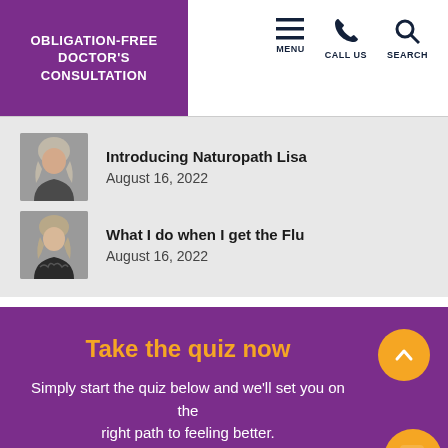OBLIGATION-FREE DOCTOR'S CONSULTATION
[Figure (screenshot): Navigation icons: hamburger menu, phone, and search with labels MENU, CALL US, SEARCH]
Introducing Naturopath Lisa — August 16, 2022
What I do when I get the Flu — August 16, 2022
Take the quiz now
Simply start the quiz below and we'll set you on the right path to feeling better.